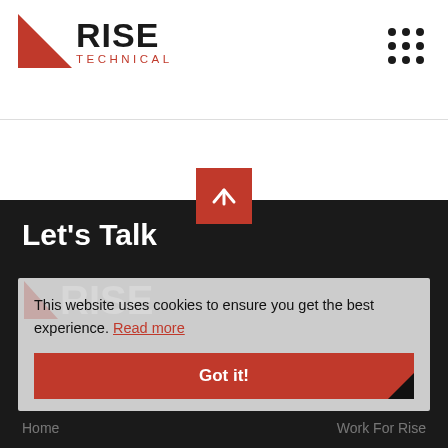[Figure (logo): Rise Technical logo with red triangle and bold RISE text above TECHNICAL in red letters]
[Figure (other): 3x3 grid of dots icon in top right corner (menu icon)]
[Figure (other): Red square scroll-to-top button with white upward arrow]
Let's Talk
This website uses cookies to ensure you get the best experience. Read more
Got it!
Quick Links
Home
Work For Rise